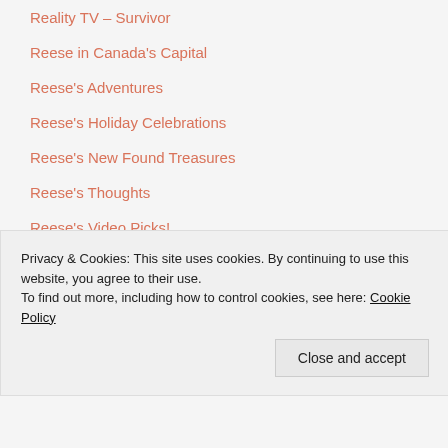Reality TV – Survivor
Reese in Canada's Capital
Reese's Adventures
Reese's Holiday Celebrations
Reese's New Found Treasures
Reese's Thoughts
Reese's Video Picks!
Reviews
SEE WHAT'S SNAPPING WITH REESE SPEAKS
Privacy & Cookies: This site uses cookies. By continuing to use this website, you agree to their use. To find out more, including how to control cookies, see here: Cookie Policy
Close and accept